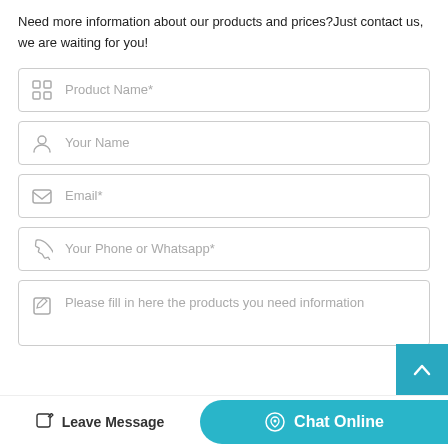Need more information about our products and prices?Just contact us, we are waiting for you!
Product Name*
Your Name
Email*
Your Phone or Whatsapp*
Please fill in here the products you need information
Leave Message
Chat Online